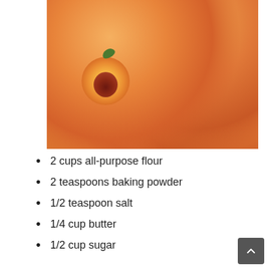[Figure (photo): A pile of fresh peaches with one peach cut in half showing the pit, with a green leaf visible]
2 cups all-purpose flour
2 teaspoons baking powder
1/2 teaspoon salt
1/4 cup butter
1/2 cup sugar
2 large eggs
1 and 1/3 cup milk
1/2 teaspoon vanilla